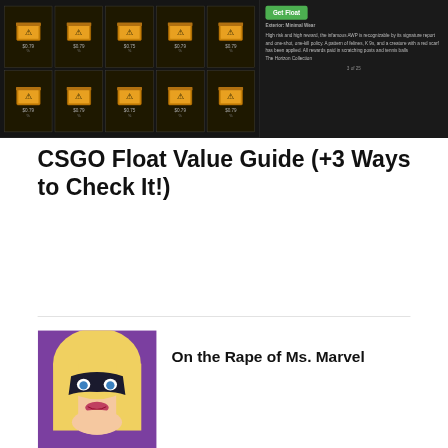[Figure (screenshot): CSGO Float app screenshot showing cases grid and item detail panel with Get Float button]
CSGO Float Value Guide (+3 Ways to Check It!)
[Figure (illustration): Comic book style illustration of Ms. Marvel character with blonde hair and black mask]
On the Rape of Ms. Marvel
[Figure (photo): Photo of person with hands on head overlaid with binary/matrix code text]
The 5 best SSH clients for Mac
[Figure (photo): Photo of smartphone with colorful social media apps]
14 Reasons Why Social Media Is